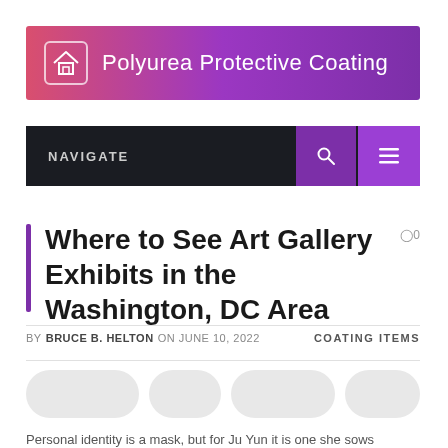[Figure (logo): Polyurea Protective Coating banner logo with house icon, gradient from pink-red to purple]
NAVIGATE
Where to See Art Gallery Exhibits in the Washington, DC Area
BY BRUCE B. HELTON ON JUNE 10, 2022   COATING ITEMS
Personal identity is a mask, but for Ju Yun it is one she sows